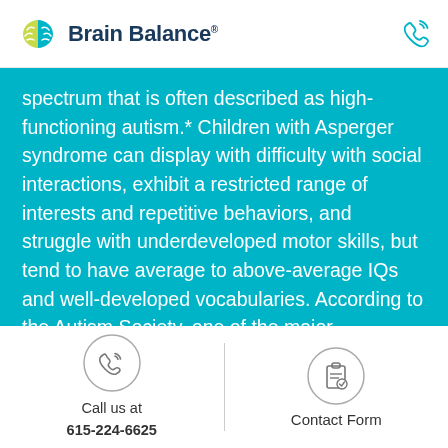Brain Balance®
spectrum that is often described as high-functioning autism.* Children with Asperger syndrome can display with difficulty with social interactions, exhibit a restricted range of interests and repetitive behaviors, and struggle with underdeveloped motor skills, but tend to have average to above-average IQs and well-developed vocabularies. According to the Autism Society, one of the major differences
[Figure (other): Phone icon in circle - Call us at 615-224-6625]
Call us at
615-224-6625
[Figure (other): Clipboard/form icon in circle - Contact Form]
Contact Form